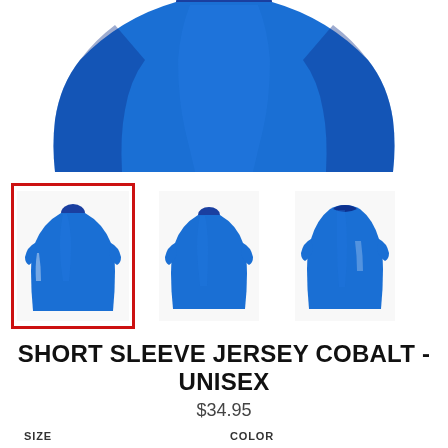[Figure (photo): Top portion of a cobalt blue short sleeve jersey shirt, cropped, showing the upper body and shoulder area of the garment against a white background.]
[Figure (photo): Three thumbnail views of a cobalt blue short sleeve jersey: front view (selected, with red border), front view (second angle), and back view, all against white background.]
SHORT SLEEVE JERSEY COBALT - UNISEX
$34.95
SIZE
COLOR